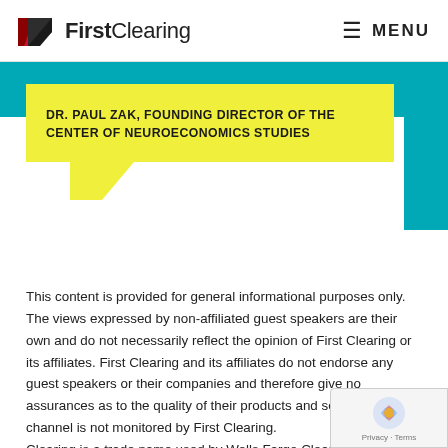FirstClearing | MENU
DR. PAUL ZAK, FOUNDING DIRECTOR OF THE CENTER OF NEUROECONOMICS STUDIES
This content is provided for general informational purposes only. The views expressed by non-affiliated guest speakers are their own and do not necessarily reflect the opinion of First Clearing or its affiliates. First Clearing and its affiliates do not endorse any guest speakers or their companies and therefore give no assurances as to the quality of their products and services. This channel is not monitored by First Clearing. Clearing is a trade name used by Wells Fargo Clearing